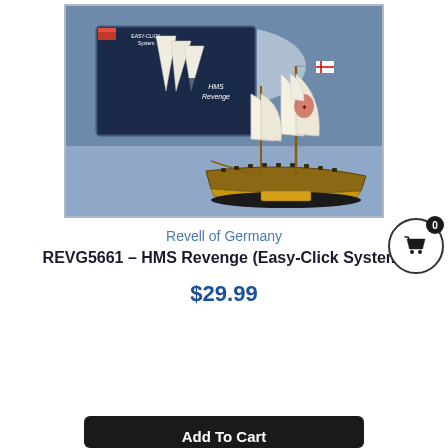[Figure (photo): Product photo of Revell HMS Revenge model ship kit showing both the box art and the assembled model ship with white sails and heraldic decorations]
Revell of Germany
REVG5661 – HMS Revenge (Easy-Click System)
$29.99
Add To Cart